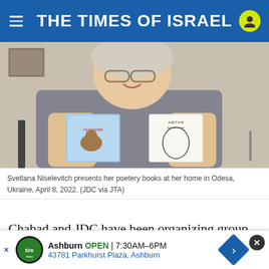THE TIMES OF ISRAEL
[Figure (photo): Svetlana Niselevitch holding up two poetry books at her home in Odesa, Ukraine, April 8, 2022.]
Svetlana Niselevitch presents her poetery books at her home in Odesa, Ukraine, April 8, 2022. (JDC via JTA)
Chabad and JDC have been organizing group seders across Eastern Europe for decades, including under challenging geopolitical circumstances. Other groups, such as the JWS Jewish for ..., are departing...
[Figure (infographic): Advertisement overlay: Ashburn OPEN 7:30AM-6PM, 43781 Parkhurst Plaza, Ashburn]